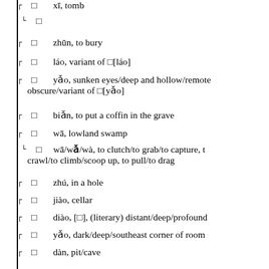⊓□  xī, tomb
└□
⊓□  zhūn, to bury
⊓□  láo, variant of □[láo]
⊓□  yǎo, sunken eyes/deep and hollow/remote obscure/variant of □[yǎo]
⊓□  biǎn, to put a coffin in the grave
⊓□  wā, lowland swamp
└□  wā/wǎ/wà, to clutch/to grab/to capture, to crawl/to climb/scoop up, to pull/to drag
⊓□  zhú, in a hole
⊓□  jiào, cellar
⊓□  diào, [□], (literary) distant/deep/profound
⊓□  yǎo, dark/deep/southeast corner of room
⊓□  dàn, pit/cave
⊓□  sù, rush out of a den/rustling
⊓□  yú, hole in a wall
⊓□  jiǎo, [□], cave/cavit...